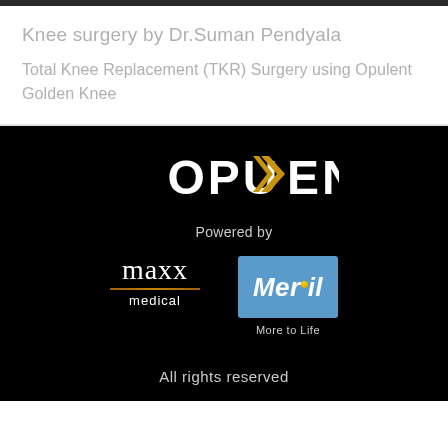Knee surgery by Dr.Suman Pendyala
Total Knee Replacement (TKR) Surgery using Opulent Golden Knee
[Figure (logo): OPUKENT logo in white text with gold arrow/chevron accent on black background]
Powered by
[Figure (logo): maxx medical logo with gold underline on black background]
[Figure (logo): Meril More to Life logo in blue badge on black background]
All rights reserved